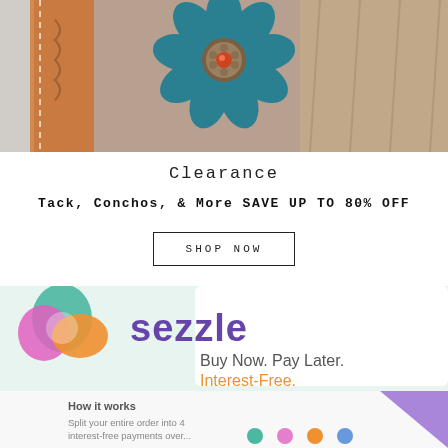[Figure (photo): Close-up product photo of a teal/turquoise decorative flower concho on brown leather tack with white stitching, against a wooden background]
Clearance
Tack, Conchos, & More SAVE UP TO 80% OFF
SHOP NOW
[Figure (photo): Sezzle advertisement banner showing the Sezzle logo with colorful teardrop icon, text 'Buy Now. Pay Later. Interest-Free.' in purple and orange, and 'How it works: Split your entire order into 4 interest-free payments over...' section at bottom]